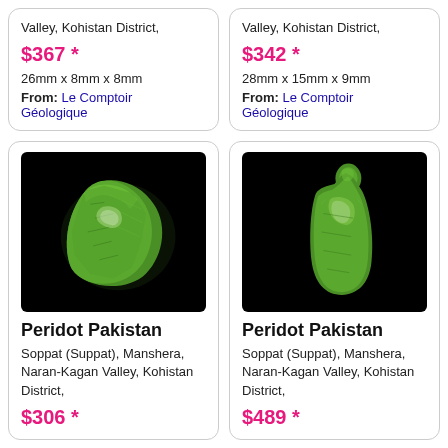Valley, Kohistan District,
$367 *
26mm x 8mm x 8mm
From: Le Comptoir Géologique
Valley, Kohistan District,
$342 *
28mm x 15mm x 9mm
From: Le Comptoir Géologique
[Figure (photo): Green peridot crystal specimen from Pakistan on black background]
Peridot Pakistan
Soppat (Suppat), Manshera, Naran-Kagan Valley, Kohistan District,
$306 *
[Figure (photo): Green peridot crystal specimen from Pakistan on black background]
Peridot Pakistan
Soppat (Suppat), Manshera, Naran-Kagan Valley, Kohistan District,
$489 *